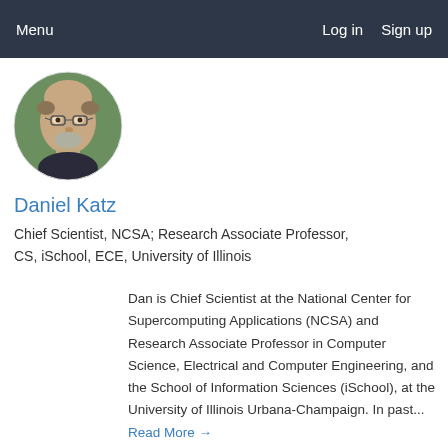Menu    Log in   Sign up
[Figure (photo): Circular profile photo of Daniel Katz, a bald man with glasses and a beard, wearing a dark shirt, with a green outdoor background.]
Daniel Katz
Chief Scientist, NCSA; Research Associate Professor, CS, iSchool, ECE, University of Illinois
Dan is Chief Scientist at the National Center for Supercomputing Applications (NCSA) and Research Associate Professor in Computer Science, Electrical and Computer Engineering, and the School of Information Sciences (iSchool), at the University of Illinois Urbana-Champaign. In past... Read More →